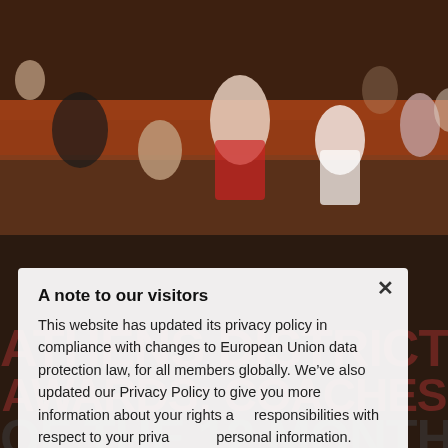[Figure (photo): Background photo of a girls basketball game in a gym with players and spectators, overlaid with large red and dark text reading 'ATHENS DISTRICT', 'AWARDS: COACHES', 'OF THE 12 MONTHS']
A note to our visitors
This website has updated its privacy policy in compliance with changes to European Union data protection law, for all members globally. We've also updated our Privacy Policy to give you more information about your rights and responsibilities with respect to your privacy and personal information. Please read this to review the updates about which cookies we use and what information we collect on our site. By continuing to use this site, you are agreeing to our updated privacy policy.